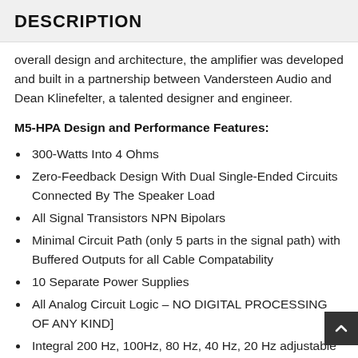DESCRIPTION
overall design and architecture, the amplifier was developed and built in a partnership between Vandersteen Audio and Dean Klinefelter, a talented designer and engineer.
M5-HPA Design and Performance Features:
300-Watts Into 4 Ohms
Zero-Feedback Design With Dual Single-Ended Circuits Connected By The Speaker Load
All Signal Transistors NPN Bipolars
Minimal Circuit Path (only 5 parts in the signal path) with Buffered Outputs for all Cable Compatability
10 Separate Power Supplies
All Analog Circuit Logic – NO DIGITAL PROCESSING OF ANY KIND]
Integral 200 Hz, 100Hz, 80 Hz, 40 Hz, 20 Hz adjustable High-Pass Filter
Aluminum Chassis with Noise Isolation Feet from